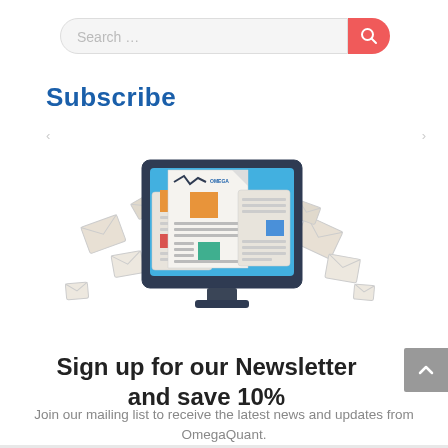Search …
Subscribe
[Figure (illustration): Newsletter subscription illustration: computer monitor with newsletter/newspaper documents on screen, surrounded by floating envelope icons]
Sign up for our Newsletter and save 10%
Join our mailing list to receive the latest news and updates from OmegaQuant.